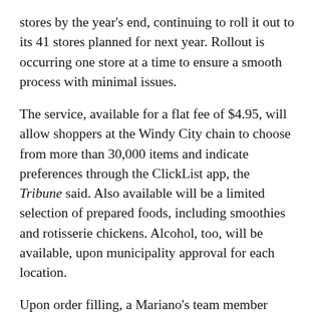stores by the year's end, continuing to roll it out to its 41 stores planned for next year. Rollout is occurring one store at a time to ensure a smooth process with minimal issues.
The service, available for a flat fee of $4.95, will allow shoppers at the Windy City chain to choose from more than 30,000 items and indicate preferences through the ClickList app, the Tribune said. Also available will be a limited selection of prepared foods, including smoothies and rotisserie chickens. Alcohol, too, will be available, upon municipality approval for each location.
Upon order filling, a Mariano's team member calls the customer to check whether anything else is needed, the newspaper reported. An average of seven employees per store will be trained in food selection and safety.
Formally dubbed ClickList in fall 2015, the click-and-